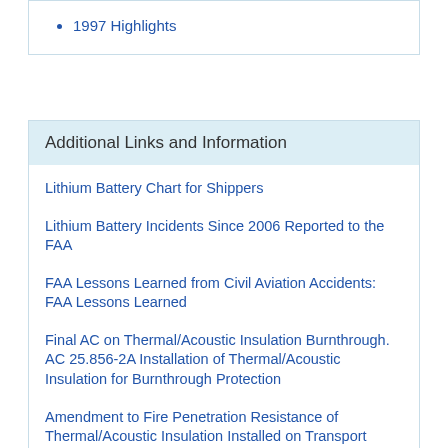1997 Highlights
Additional Links and Information
Lithium Battery Chart for Shippers
Lithium Battery Incidents Since 2006 Reported to the FAA
FAA Lessons Learned from Civil Aviation Accidents: FAA Lessons Learned
Final AC on Thermal/Acoustic Insulation Burnthrough.
AC 25.856-2A Installation of Thermal/Acoustic Insulation for Burnthrough Protection
Amendment to Fire Penetration Resistance of Thermal/Acoustic Insulation Installed on Transport Category Airplanes
Datasheet for Round Robin for the Heat Release Test (OSU) and Smoke Density Test (NBS)
Burnthrough guidance material.